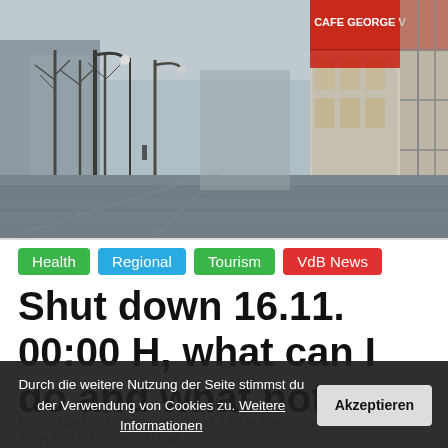[Figure (photo): Empty Champs-Elysees street in Paris with Cafe George V visible on the right, taken during lockdown. Street is deserted with bare trees on the left and closed cafe chairs on the right.]
Health
Regional
Tourism
VdB News
Shut down 16.11. 00:00 H, what can I do and what not
Durch die weitere Nutzung der Seite stimmst du der Verwendung von Cookies zu. Weitere Informationen   Akzeptieren
Bisposspan · 0 Comments · Covid-19, curfew, doctor's visit, restriction, shopping, supermarket, trips